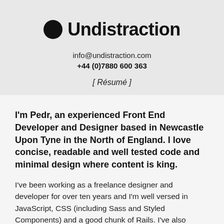Undistraction
info@undistraction.com
+44 (0)7880 600 363
[ Résumé ]
I'm Pedr, an experienced Front End Developer and Designer based in Newcastle Upon Tyne in the North of England. I love concise, readable and well tested code and minimal design where content is king.
I've been working as a freelance designer and developer for over ten years and I'm well versed in JavaScript, CSS (including Sass and Styled Components) and a good chunk of Rails. I've also